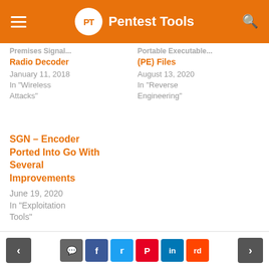Pentest Tools
Radio Decoder
January 11, 2018
In "Wireless Attacks"
(PE) Files
August 13, 2020
In "Reverse Engineering"
SGN – Encoder Ported Into Go With Several Improvements
June 19, 2020
In "Exploitation Tools"
< [comment] [f] [t] [p] [in] [reddit] >